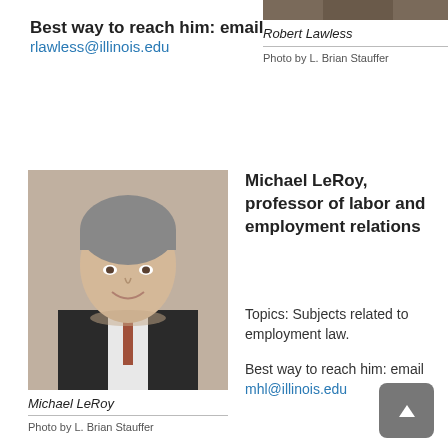Best way to reach him: email
rlawless@illinois.edu
[Figure (photo): Partial photo of Robert Lawless, top of head/shoulders visible]
Robert Lawless
Photo by L. Brian Stauffer
[Figure (photo): Professional headshot of Michael LeRoy, a man in a dark suit with grey hair, smiling, in front of a brick wall]
Michael LeRoy
Photo by L. Brian Stauffer
Michael LeRoy, professor of labor and employment relations
Topics: Subjects related to employment law.
Best way to reach him: email
mhl@illinois.edu